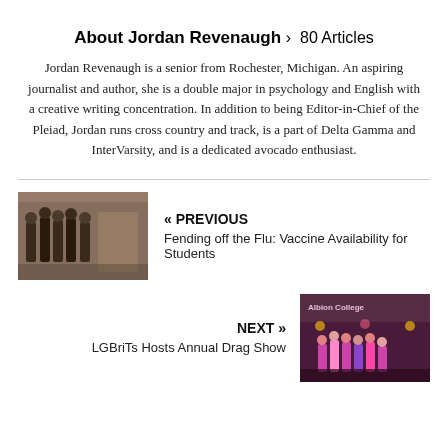About Jordan Revenaugh > 80 Articles
Jordan Revenaugh is a senior from Rochester, Michigan. An aspiring journalist and author, she is a double major in psychology and English with a creative writing concentration. In addition to being Editor-in-Chief of the Pleiad, Jordan runs cross country and track, is a part of Delta Gamma and InterVarsity, and is a dedicated avocado enthusiast.
[Figure (photo): Photo of students in a hallway or gym setting]
« PREVIOUS
Fending off the Flu: Vaccine Availability for Students
NEXT »
LGBriTs Hosts Annual Drag Show
[Figure (photo): Photo of a drag show performance at Albion College]